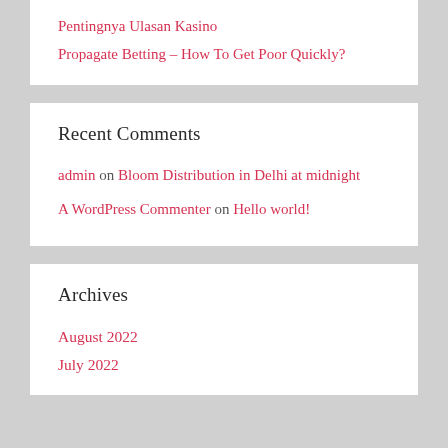Pentingnya Ulasan Kasino
Propagate Betting – How To Get Poor Quickly?
Recent Comments
admin on Bloom Distribution in Delhi at midnight
A WordPress Commenter on Hello world!
Archives
August 2022
July 2022